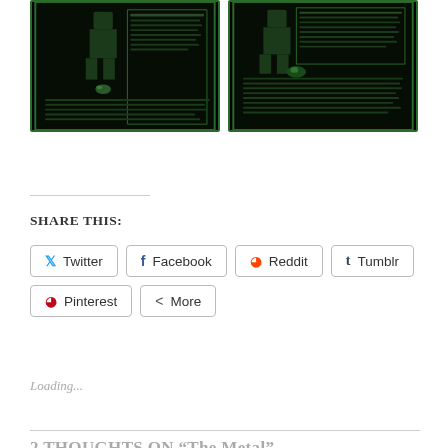[Figure (screenshot): Two dark-themed game screenshots side by side showing a pixel-art character with green tones on black backgrounds with text overlays]
Share this:
Twitter
Facebook
Reddit
Tumblr
Pinterest
More
Loading...
2 thoughts on “The Metal”